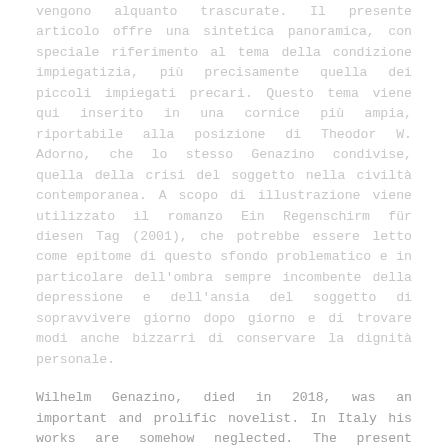vengono alquanto trascurate. Il presente articolo offre una sintetica panoramica, con speciale riferimento al tema della condizione impiegatizia, più precisamente quella dei piccoli impiegati precari. Questo tema viene qui inserito in una cornice più ampia, riportabile alla posizione di Theodor W. Adorno, che lo stesso Genazino condivise, quella della crisi del soggetto nella civiltà contemporanea. A scopo di illustrazione viene utilizzato il romanzo Ein Regenschirm für diesen Tag (2001), che potrebbe essere letto come epitome di questo sfondo problematico e in particolare dell'ombra sempre incombente della depressione e dell'ansia del soggetto di sopravvivere giorno dopo giorno e di trovare modi anche bizzarri di conservare la dignità personale.
Wilhelm Genazino, died in 2018, was an important and prolific novelist. In Italy his works are somehow neglected. The present article offers a synthetic overview especially by relating to the main theme of working and living conditions for small and precarious employees. This aspect can brought back to the large frame given by Theodor W. Adorno through his social theories, shared by Genazino, concerning in general the crisis of contemporary selfhood. To illustrate this issue, the article